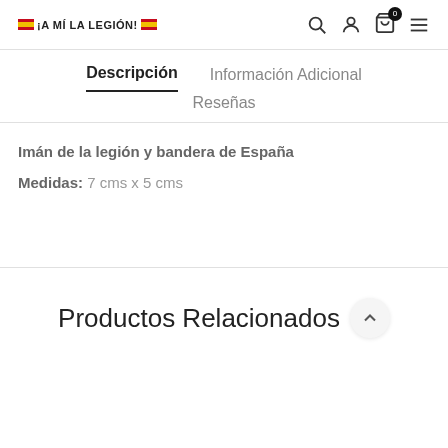¡A MÍ LA LEGIÓN!
Descripción
Información Adicional
Reseñas
Imán de la legión y bandera de España
Medidas: 7 cms x 5 cms
Productos Relacionados